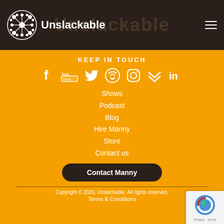Unslackable
KEEP IN TOUCH
[Figure (infographic): Row of social media icons: Facebook, YouTube, Twitter, Podcast/WiFi, Instagram, Klout/chevrons, LinkedIn]
Shows
Podcast
Blog
Hire Manny
Store
Contact us
Contact Manny
Copyright © 2020, Unslackable. All rights reserved.
Terms & Conditions